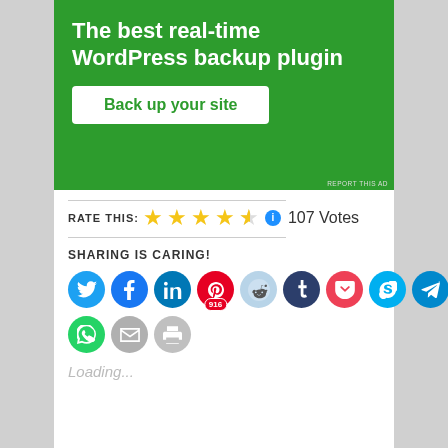[Figure (illustration): Green advertisement banner for a WordPress backup plugin. Text reads: 'The best real-time WordPress backup plugin' with a white button 'Back up your site'. Small 'REPORT THIS AD' text at bottom right.]
RATE THIS: ★★★★½ ℹ️ 107 Votes
SHARING IS CARING!
[Figure (infographic): Row of social sharing buttons: Twitter (blue), Facebook (blue), LinkedIn (dark blue), Pinterest (red, 916 saves), Reddit (light blue), Tumblr (dark navy), Pocket (red), Skype (blue), Telegram (blue). Second row: WhatsApp (green), Email (gray), Print (gray).]
Loading...